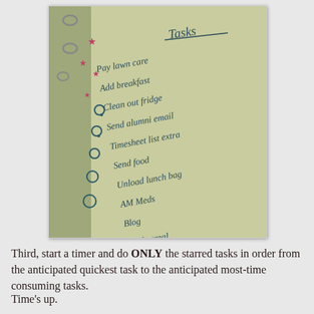[Figure (photo): A photograph of a handwritten task list on a notebook page. The page has circles and star symbols on the left margin. The title reads 'Tasks' and lists items including: Pay lawn care, Add breakfast, Clean out fridge, Send alumni email, Timesheet list, extra, Send food, Unload lunch bag, AM Meds, Blog, Find cereal.]
Third, start a timer and do ONLY the starred tasks in order from the anticipated quickest task to the anticipated most-time consuming tasks.
Time's up.